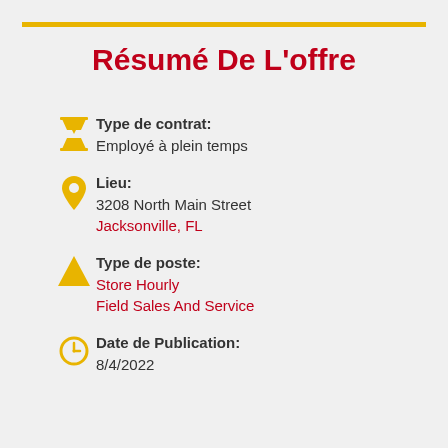Résumé De L'offre
Type de contrat: Employé à plein temps
Lieu: 3208 North Main Street Jacksonville, FL
Type de poste: Store Hourly Field Sales And Service
Date de Publication: 8/4/2022